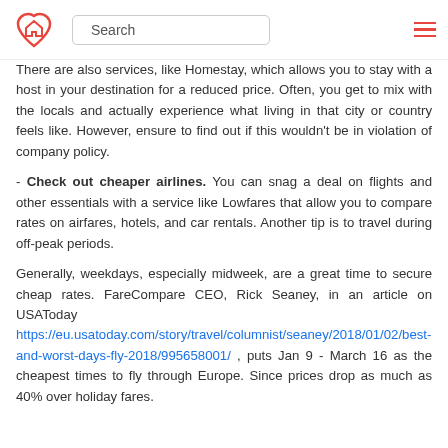Search
There are also services, like Homestay, which allows you to stay with a host in your destination for a reduced price. Often, you get to mix with the locals and actually experience what living in that city or country feels like. However, ensure to find out if this wouldn't be in violation of company policy.
- Check out cheaper airlines. You can snag a deal on flights and other essentials with a service like Lowfares that allow you to compare rates on airfares, hotels, and car rentals. Another tip is to travel during off-peak periods.
Generally, weekdays, especially midweek, are a great time to secure cheap rates. FareCompare CEO, Rick Seaney, in an article on USAToday https://eu.usatoday.com/story/travel/columnist/seaney/2018/01/02/best-and-worst-days-fly-2018/995658001/ , puts Jan 9 - March 16 as the cheapest times to fly through Europe. Since prices drop as much as 40% over holiday fares.